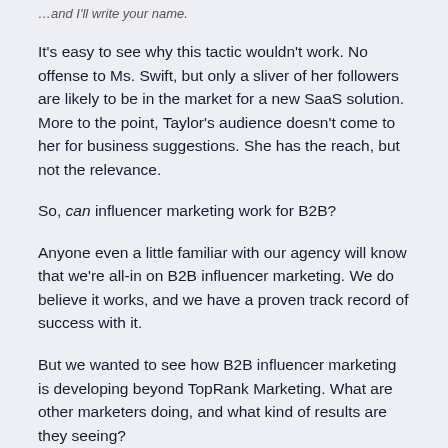…and I'll write your name.
It's easy to see why this tactic wouldn't work. No offense to Ms. Swift, but only a sliver of her followers are likely to be in the market for a new SaaS solution. More to the point, Taylor's audience doesn't come to her for business suggestions. She has the reach, but not the relevance.
So, can influencer marketing work for B2B?
Anyone even a little familiar with our agency will know that we're all-in on B2B influencer marketing. We do believe it works, and we have a proven track record of success with it.
But we wanted to see how B2B influencer marketing is developing beyond TopRank Marketing. What are other marketers doing, and what kind of results are they seeing?